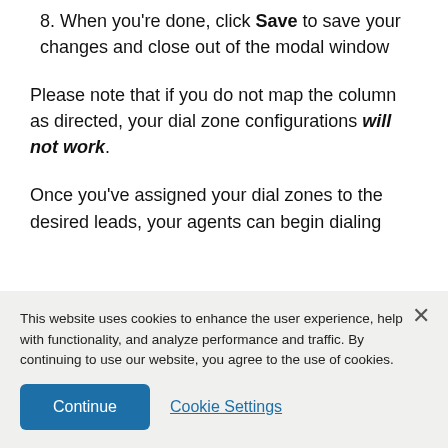8. When you're done, click Save to save your changes and close out of the modal window
Please note that if you do not map the column as directed, your dial zone configurations will not work.
Once you've assigned your dial zones to the desired leads, your agents can begin dialing
This website uses cookies to enhance the user experience, help with functionality, and analyze performance and traffic. By continuing to use our website, you agree to the use of cookies.